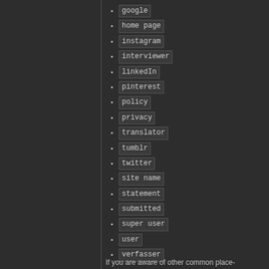google
home page
instagram
interviewer
linkedIn
pinterest
policy
privacy
translator
tumblr
twitter
site name
statement
submitted
super user
user
verfasser
If you are aware of other common place-